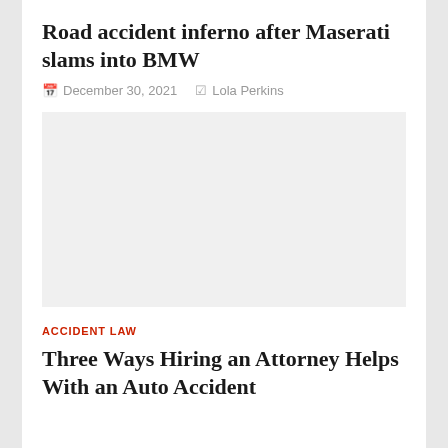Road accident inferno after Maserati slams into BMW
December 30, 2021   Lola Perkins
[Figure (photo): Photo placeholder area related to road accident story]
ACCIDENT LAW
Three Ways Hiring an Attorney Helps With an Auto Accident